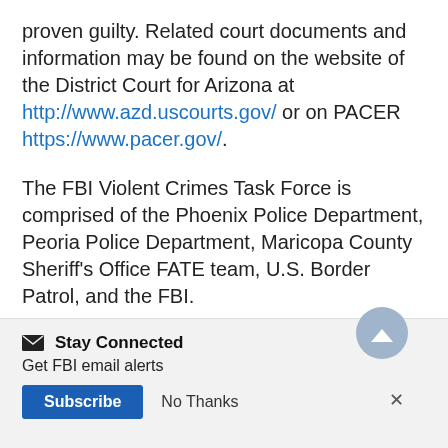proven guilty. Related court documents and information may be found on the website of the District Court for Arizona at http://www.azd.uscourts.gov/ or on PACER https://www.pacer.gov/.
The FBI Violent Crimes Task Force is comprised of the Phoenix Police Department, Peoria Police Department, Maricopa County Sheriff's Office FATE team, U.S. Border Patrol, and the FBI.
Magistrate Number: 2:22-mj-5203-DMF
Stay Connected
Get FBI email alerts
Subscribe  No Thanks